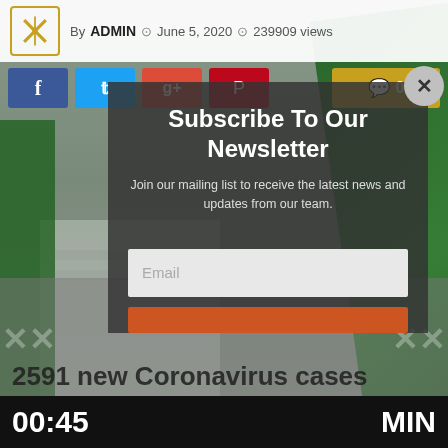By ADMIN  June 5, 2020  239909 views
[Figure (screenshot): Social share buttons: Facebook (blue), Twitter (teal), Google+ (red), Pinterest (dark red), and a gold comment button showing 0 comments]
[Figure (photo): Background photo of Saudi Arabia national flags (green) in an urban setting, partially visible behind a dark overlay]
Subscribe To Our Newsletter
Join our mailing list to receive the latest news and updates from our team.
Email
2591 new Coronavirus cases
00:45  MIN